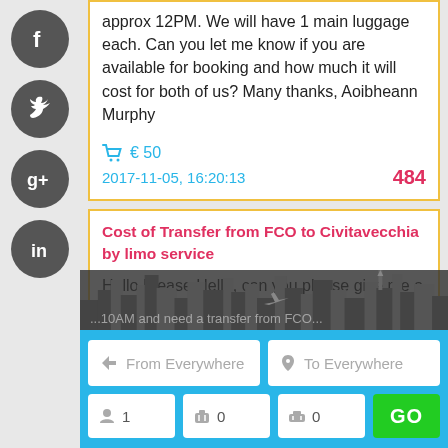approx 12PM. We will have 1 main luggage each. Can you let me know if you are available for booking and how much it will cost for both of us? Many thanks, Aoibheann Murphy
🛒 € 50
2017-11-05, 16:20:13    484
Cost of Transfer from FCO to Civitavecchia by limo service
Hello Please Hello, can you please give me a quote on what it would cost to have the limo Transfer in June ? for 2 people with 4 pieces of luggage We have 2 full size suit cases and 2 carry-ons. 4 total. We will be arriving June 2, 2108 at ...10AM and need a transfer from FCO...
From Everywhere
To Everywhere
1
0
0
GO